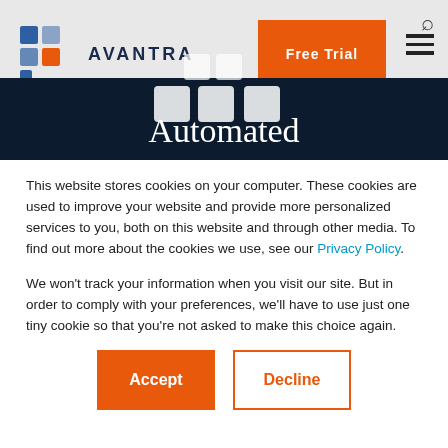[Figure (logo): Avantra logo with colorful square grid icon and text AVANTRA]
Automated
SAP operations
This website stores cookies on your computer. These cookies are used to improve your website and provide more personalized services to you, both on this website and through other media. To find out more about the cookies we use, see our Privacy Policy.
We won't track your information when you visit our site. But in order to comply with your preferences, we'll have to use just one tiny cookie so that you're not asked to make this choice again.